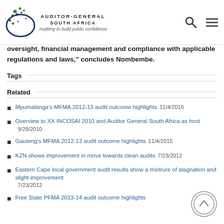AUDITOR-GENERAL SOUTH AFRICA — Auditing to build public confidence
oversight, financial management and compliance with applicable regulations and laws," concludes Nombembe.
Tags
Related
Mpumalanga's MFMA 2012-13 audit outcome highlights 11/4/2015
Overview to XX INCOSAI 2010 and Auditor General South Africa as host 9/29/2010
Gauteng's MFMA 2012-13 audit outcome highlights 11/4/2015
KZN shows improvement in move towards clean audits 7/23/2012
Eastern Cape local government audit results show a mixtrure of stagnation and slight improvement 7/23/2012
Free State PFMA 2013-14 audit outcome highlights